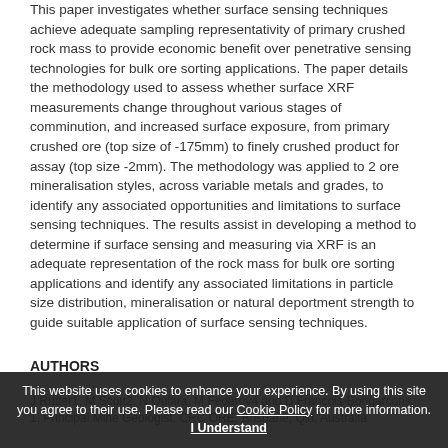This paper investigates whether surface sensing techniques achieve adequate sampling representativity of primary crushed rock mass to provide economic benefit over penetrative sensing technologies for bulk ore sorting applications. The paper details the methodology used to assess whether surface XRF measurements change throughout various stages of comminution, and increased surface exposure, from primary crushed ore (top size of -175mm) to finely crushed product for assay (top size -2mm). The methodology was applied to 2 ore mineralisation styles, across variable metals and grades, to identify any associated opportunities and limitations to surface sensing techniques. The results assist in developing a method to determine if surface sensing and measuring via XRF is an adequate representation of the rock mass for bulk ore sorting applications and identify any associated limitations in particle size distribution, mineralisation or natural deportment strength to guide suitable application of surface sensing techniques.
AUTHORS
J Rutter1, M Scott2, N Oulara, M Federov4 and D Francois-Bongarcons.
1. Principal Mine Geologist, CRC ORE, Brisbane, Qld, Australia
This website uses cookies to enhance your experience. By using this site you agree to their use. Please read our Cookie Policy for more information. I Understand